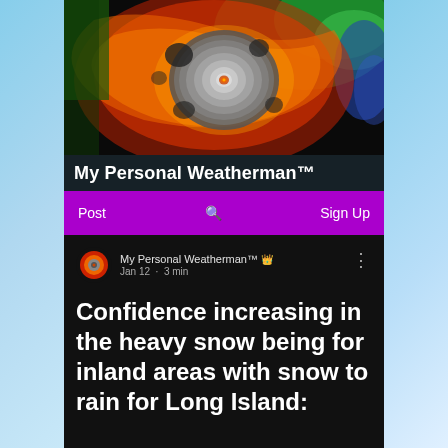[Figure (photo): Satellite image of a hurricane eye from above, showing swirling red, orange, green and gray colors around a circular eye.]
My Personal Weatherman™
Post   🔍   Sign Up
My Personal Weatherman™ 👑
Jan 12 · 3 min
Confidence increasing in the heavy snow being for inland areas with snow to rain for Long Island: